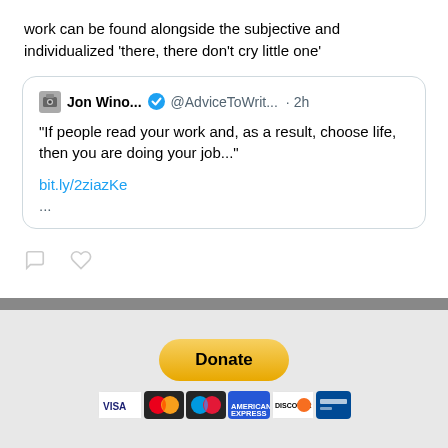work can be found alongside the subjective and individualized 'there, there don't cry little one'
[Figure (screenshot): Quoted tweet from Jon Wino... (@AdviceToWrit...) posted 2h ago: "If people read your work and, as a result, choose life, then you are doing your job..." with link bit.ly/2ziazKe]
[Figure (screenshot): Donate button (PayPal style, yellow/gold) with payment card icons below: Visa, Mastercard, Maestro, American Express, Discover, and another card]